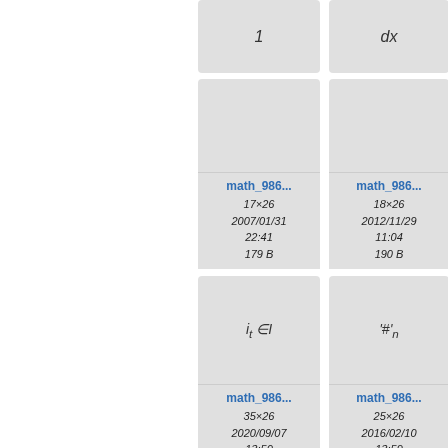[Figure (other): Math formula card showing '1' with label math_986..., 17x26, 2007/01/31 22:41, 179 B]
[Figure (other): Math formula card showing 'dx' with label math_986..., 18x26, 2012/11/29 11:04, 190 B]
[Figure (other): Math formula card showing 'i_t ∈ I' with label math_986..., 35x26, 2020/09/07 13:50, 255 B]
[Figure (other): Math formula card showing '#'_n with label math_986..., 25x26, 2016/02/10 13:59, 230 B]
[Figure (other): Math formula card partially visible at bottom left]
[Figure (other): Math formula card partially visible at bottom right]